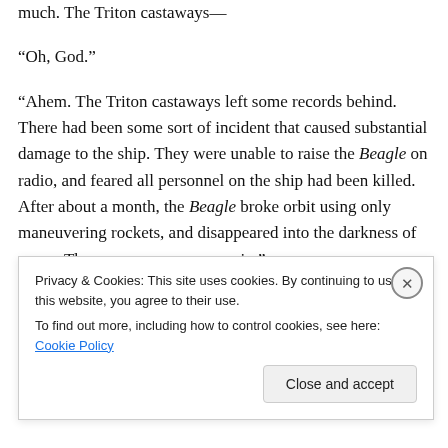much. The Triton castaways—
“Oh, God.”
“Ahem. The Triton castaways left some records behind. There had been some sort of incident that caused substantial damage to the ship. They were unable to raise the Beagle on radio, and feared all personnel on the ship had been killed. After about a month, the Beagle broke orbit using only maneuvering rockets, and disappeared into the darkness of space. They were never seen again.”
“I still think we should” Morgan was i...
Privacy & Cookies: This site uses cookies. By continuing to use this website, you agree to their use.
To find out more, including how to control cookies, see here: Cookie Policy